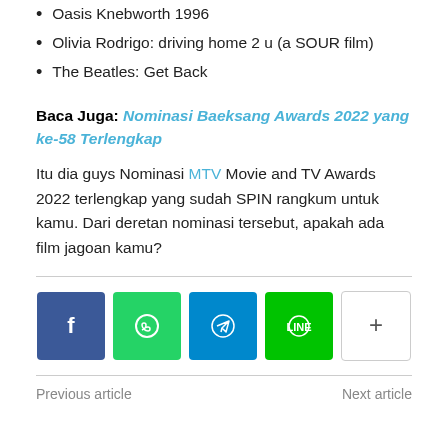Oasis Knebworth 1996
Olivia Rodrigo: driving home 2 u (a SOUR film)
The Beatles: Get Back
Baca Juga: Nominasi Baeksang Awards 2022 yang ke-58 Terlengkap
Itu dia guys Nominasi MTV Movie and TV Awards 2022 terlengkap yang sudah SPIN rangkum untuk kamu. Dari deretan nominasi tersebut, apakah ada film jagoan kamu?
[Figure (infographic): Social media share buttons: Facebook (blue), WhatsApp (green), Telegram (blue), Line (green), More (+) button]
Previous article    Next article